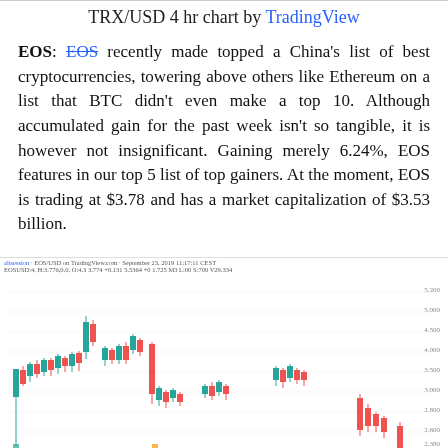TRX/USD 4 hr chart by TradingView
EOS: EOS recently made topped a China's list of best cryptocurrencies, towering above others like Ethereum on a list that BTC didn't even make a top 10. Although accumulated gain for the past week isn't so tangible, it is however not insignificant. Gaining merely 6.24%, EOS features in our top 5 list of top gainers. At the moment, EOS is trading at $3.78 and has a market capitalization of $3.53 billion.
[Figure (other): EOS/USD 4 hour candlestick chart from TradingView showing price action with green and red candles, displayed September 2019]